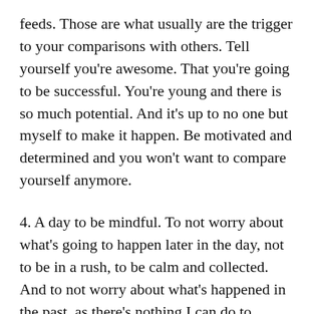feeds. Those are what usually are the trigger to your comparisons with others. Tell yourself you're awesome. That you're going to be successful. You're young and there is so much potential. And it's up to no one but myself to make it happen. Be motivated and determined and you won't want to compare yourself anymore.
4. A day to be mindful. To not worry about what's going to happen later in the day, not to be in a rush, to be calm and collected. And to not worry about what's happened in the past, as there's nothing I can do to change it. I can only change my future, and can only do so if I'm mindful and act in the moment;